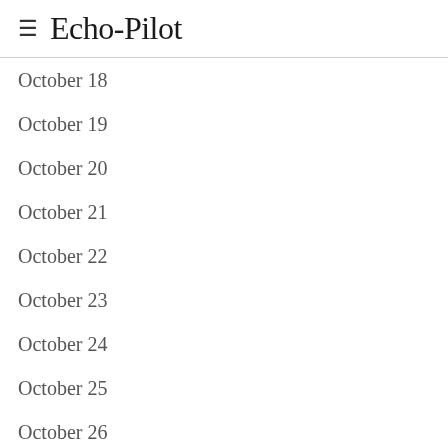≡ Echo-Pilot
October 18
October 19
October 20
October 21
October 22
October 23
October 24
October 25
October 26
October 27